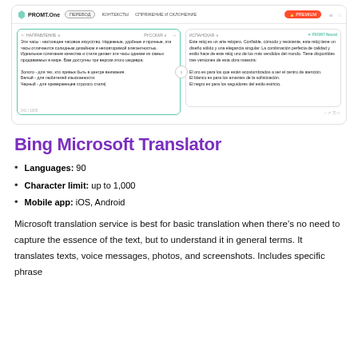[Figure (screenshot): Screenshot of PROMT.One translation interface showing Russian to Spanish translation of a watch product description]
Bing Microsoft Translator
Languages: 90
Character limit: up to 1,000
Mobile app: iOS, Android
Microsoft translation service is best for basic translation when there's no need to capture the essence of the text, but to understand it in general terms. It translates texts, voice messages, photos, and screenshots. Includes specific phrase